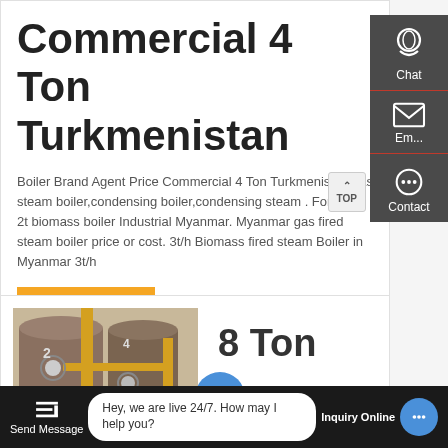Commercial 4 Ton Turkmenistan
Boiler Brand Agent Price Commercial 4 Ton Turkmenistan gas steam boiler,condensing boiler,condensing steam . For Sale 2t biomass boiler Industrial Myanmar. Myanmar gas fired steam boiler price or cost. 3t/h Biomass fired steam Boiler in Myanmar 3t/h
GET A QUOTE
[Figure (photo): Industrial boilers with yellow piping and cylindrical tanks in a facility]
8 Ton
Hey, we are live 24/7. How may I help you?
Send Message
Inquiry Online